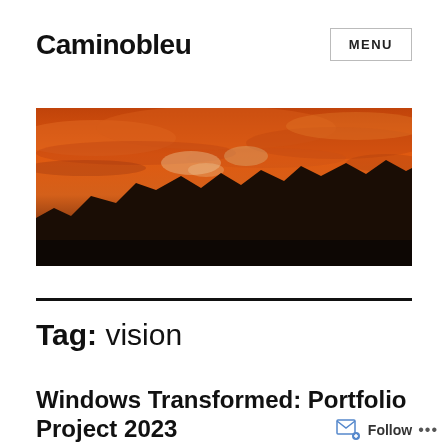Caminobleu
MENU
[Figure (photo): Panoramic landscape photograph showing a dramatic orange and red sunset sky with sweeping clouds over a dark mountain silhouette range.]
Tag: vision
Windows Transformed: Portfolio Project 2023
Follow ...